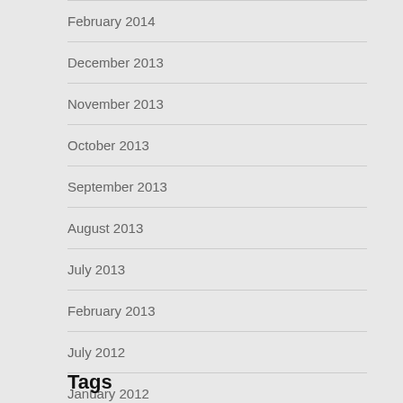February 2014
December 2013
November 2013
October 2013
September 2013
August 2013
July 2013
February 2013
July 2012
January 2012
Tags